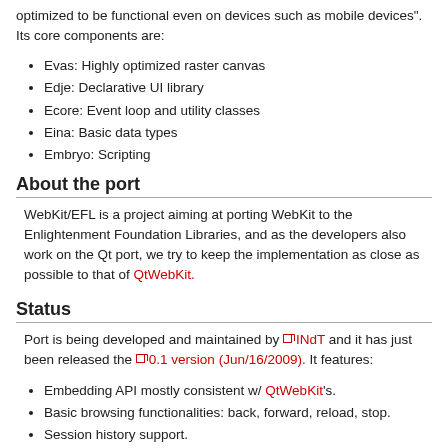optimized to be functional even on devices such as mobile devices". Its core components are:
Evas: Highly optimized raster canvas
Edje: Declarative UI library
Ecore: Event loop and utility classes
Eina: Basic data types
Embryo: Scripting
About the port
WebKit/EFL is a project aiming at porting WebKit to the Enlightenment Foundation Libraries, and as the developers also work on the Qt port, we try to keep the implementation as close as possible to that of QtWebKit.
Status
Port is being developed and maintained by INdT and it has just been released the 0.1 version (Jun/16/2009). It features:
Embedding API mostly consistent w/ QtWebKit's.
Basic browsing functionalities: back, forward, reload, stop.
Session history support.
Hook up for new_window and global_history callbacks.
Glib mainloop integration (needed for flash plugin support).
Support to flash plugin (require X backend).
True zooming.
Theme support per WebView.